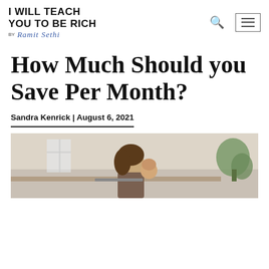I WILL TEACH YOU TO BE RICH by Ramit Sethi
How Much Should you Save Per Month?
Sandra Kenrick | August 6, 2021
[Figure (photo): A woman sitting at a desk holding a baby, with plants visible in the background]